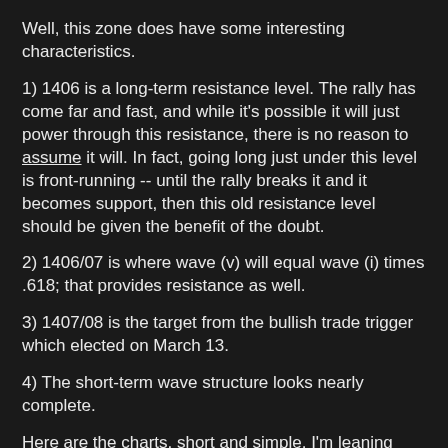Well, this zone does have some interesting characteristics.
1) 1406 is a long-term resistance level.  The rally has come far and fast, and while it's possible it will just power through this resistance, there is no reason to assume it will.  In fact, going long just under this level is front-running -- until the rally breaks it and it becomes support, then this old resistance level should be given the benefit of the doubt.
2) 1406/07 is where wave (v) will equal wave (i) times .618; that provides resistance as well.
3) 1407/08 is the target from the bullish trade trigger which elected on March 13.
4) The short-term wave structure looks nearly complete.
Here are the charts, short and simple.  I'm leaning toward the black count on the 5 minute chart; the red count on the daily chart.  Okay, that's not short and simple -- sorry, I don't have time to change the colors now.